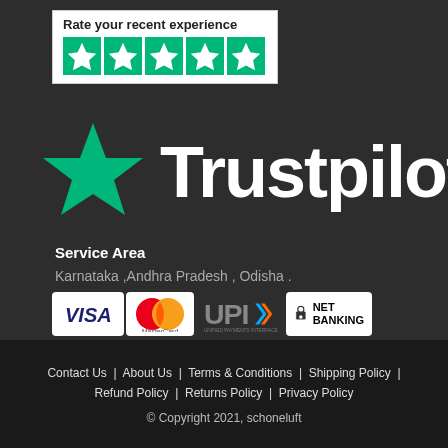[Figure (logo): Trustpilot rating widget showing 'Rate your recent experience' text and 5 green star icons on white background]
[Figure (logo): Trustpilot logo with large green star on left and 'Trustpilot' text in white on dark background]
Service Area
Karnataka ,Andhra Pradesh , Odisha .
[Figure (infographic): Payment method icons: VISA, MasterCard, UPI (Unified Payments Interface), Net Banking]
Contact Us | About Us | Terms & Conditions | Shipping Policy | Refund Policy | Returns Policy | Privacy Policy
© Copyright 2021, schoneluft